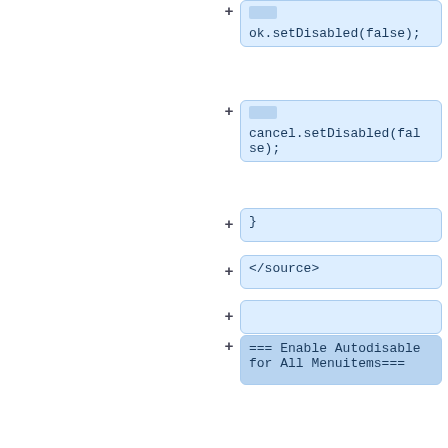+ ok.setDisabled(false);
+ cancel.setDisabled(false);
+ }
+ </source>
+
+ === Enable Autodisable for All Menuitems===
+
As described in [[ZK Developer's Reference/Customization/Component Properties|ZK Developer's Reference: